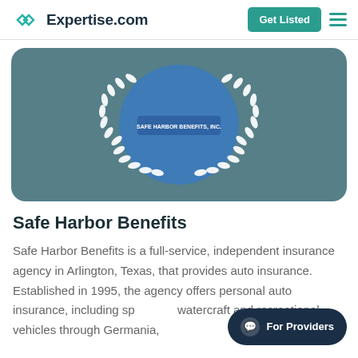Expertise.com | Get Listed
[Figure (logo): Safe Harbor Benefits, Inc. company logo displayed inside a blue circle with white laurel wreath on a teal/slate background banner]
Safe Harbor Benefits
Safe Harbor Benefits is a full-service, independent insurance agency in Arlington, Texas, that provides auto insurance. Established in 1995, the agency offers personal auto insurance, including sp... watercraft and recreational vehicles through Germania,